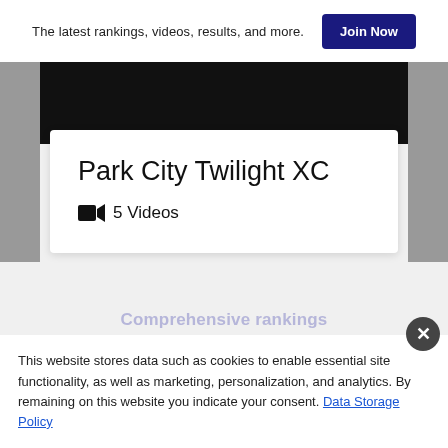The latest rankings, videos, results, and more.  Join Now
Park City Twilight XC
🎥 5 Videos
Comprehensive rankings
This website stores data such as cookies to enable essential site functionality, as well as marketing, personalization, and analytics. By remaining on this website you indicate your consent. Data Storage Policy